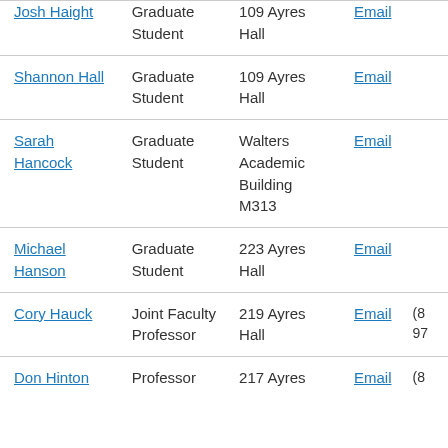| Name | Title | Office | Contact | Phone |
| --- | --- | --- | --- | --- |
| Josh Haight | Graduate Student | 109 Ayres Hall | Email |  |
| Shannon Hall | Graduate Student | 109 Ayres Hall | Email |  |
| Sarah Hancock | Graduate Student | Walters Academic Building M313 | Email |  |
| Michael Hanson | Graduate Student | 223 Ayres Hall | Email |  |
| Cory Hauck | Joint Faculty Professor | 219 Ayres Hall | Email | (8... 97... |
| Don Hinton | Professor | 217 Ayres | Email | (8... |